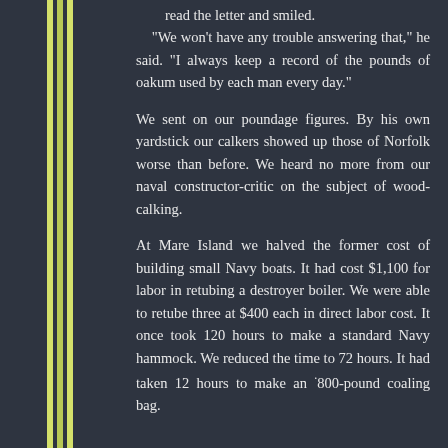read the letter and smiled.
    "We won't have any trouble answering that," he said. "I always keep a record of the pounds of oakum used by each man every day."
We sent on our poundage figures. By his own yardstick our calkers showed up those of Norfolk worse than before. We heard no more from our naval constructor-critic on the subject of wood-calking.
At Mare Island we halved the former cost of building small Navy boats. It had cost $1,100 for labor in retubing a destroyer boiler. We were able to retube three at $400 each in direct labor cost. It once took 120 hours to make a standard Navy hammock. We reduced the time to 72 hours. It had taken 12 hours to make an ·800-pound coaling bag.